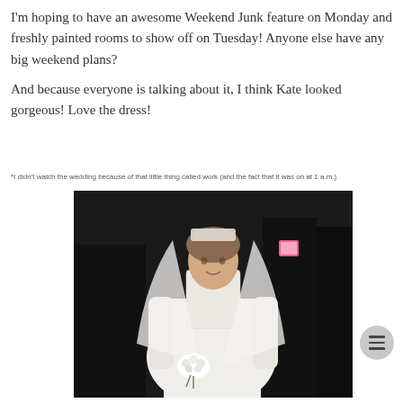I'm hoping to have an awesome Weekend Junk feature on Monday and freshly painted rooms to show off on Tuesday! Anyone else have any big weekend plans?

And because everyone is talking about it, I think Kate looked gorgeous! Love the dress!
*I didn't watch the wedding because of that little thing called work (and the fact that it was on at 1 a.m.)
[Figure (photo): Photo of Kate Middleton in her white wedding dress with lace sleeves and veil, holding a bouquet, with dark-suited figures in the background and a pink badge visible on one figure.]